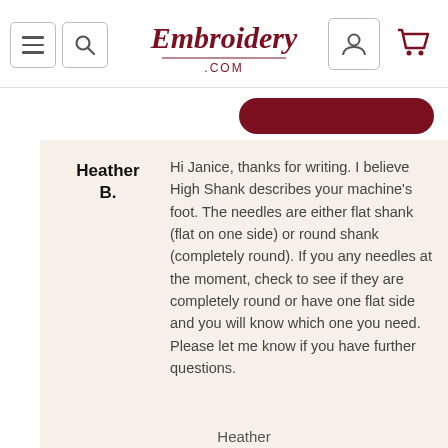[Figure (screenshot): Website header for Embroidery.com showing hamburger menu icon, search icon, logo in script font, user account icon, and shopping cart icon]
Heather B.
Hi Janice, thanks for writing. I believe High Shank describes your machine's foot. The needles are either flat shank (flat on one side) or round shank (completely round). If you any needles at the moment, check to see if they are completely round or have one flat side and you will know which one you need. Please let me know if you have further questions.
Heather